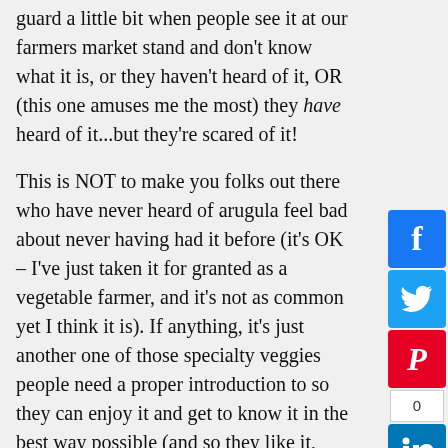guard a little bit when people see it at our farmers market stand and don't know what it is, or they haven't heard of it, OR (this one amuses me the most) they have heard of it...but they're scared of it!
This is NOT to make you folks out there who have never heard of arugula feel bad about never having had it before (it's OK – I've just taken it for granted as a vegetable farmer, and it's not as common yet I think it is). If anything, it's just another one of those specialty veggies people need a proper introduction to so they can enjoy it and get to know it in the best way possible (and so they like it, because it's a wonderful, wonderful green).
Yes, arugula can be sorta spicy. But here's the thing: once you get it mixed into a salad with a cool salad dressing and other ingredients, the edge of